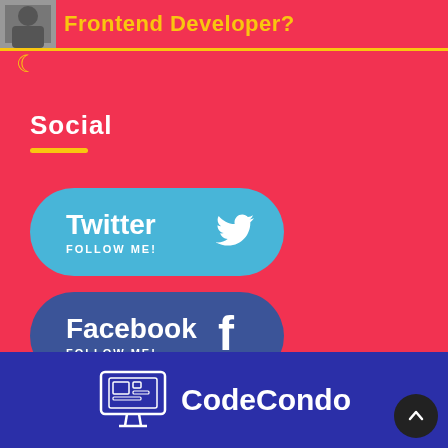Frontend Developer?
Social
[Figure (logo): Twitter button with bird icon and text 'Twitter / FOLLOW ME!']
[Figure (logo): Facebook button with f icon and text 'Facebook / FOLLOW ME!']
[Figure (logo): CodeCondo logo with monitor icon and text 'CodeCondo']